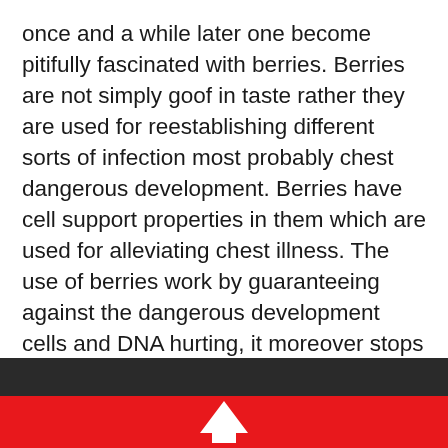once and a while later one become pitifully fascinated with berries. Berries are not simply goof in taste rather they are used for reestablishing different sorts of infection most probably chest dangerous development. Berries have cell support properties in them which are used for alleviating chest illness. The use of berries work by guaranteeing against the dangerous development cells and DNA hurting, it moreover stops progression of the infection cells.